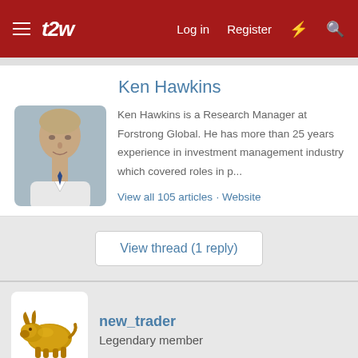t2w — Log in  Register
Ken Hawkins
Ken Hawkins is a Research Manager at Forstrong Global. He has more than 25 years experience in investment management industry which covered roles in p...
View all 105 articles · Website
View thread (1 reply)
new_trader
Legendary member
May 24, 2019  #2